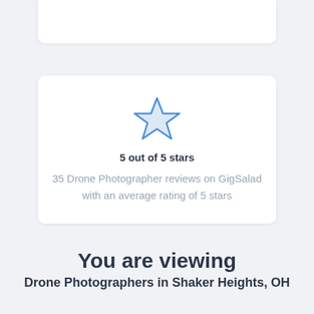[Figure (illustration): A white card with a blue outlined star icon, bold text '5 out of 5 stars', and gray descriptive text about 35 Drone Photographer reviews on GigSalad with average rating of 5 stars]
5 out of 5 stars
35 Drone Photographer reviews on GigSalad with an average rating of 5 stars
You are viewing
Drone Photographers in Shaker Heights, OH